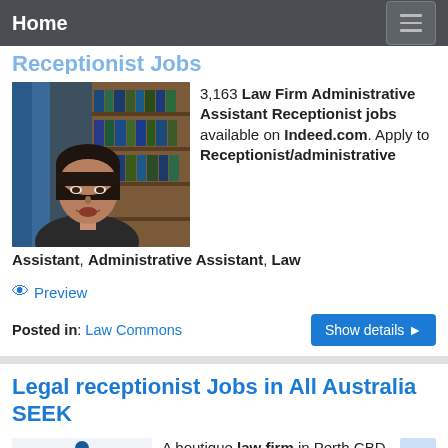Home
Receptionist Jobs
[Figure (photo): Photo of a young woman with dark hair speaking, with bookshelves in background]
3,163 Law Firm Administrative Assistant Receptionist jobs available on Indeed.com. Apply to Receptionist/administrative Assistant, Administrative Assistant, Law
Preview
Posted in: Law Commons
Legal receptionist Jobs in All Australia SEEK
[Figure (illustration): Illustration of scales of justice (legal balance scales) in blue and light colors]
A boutique law firm in Perth CBD seeks a full-time receptionist /